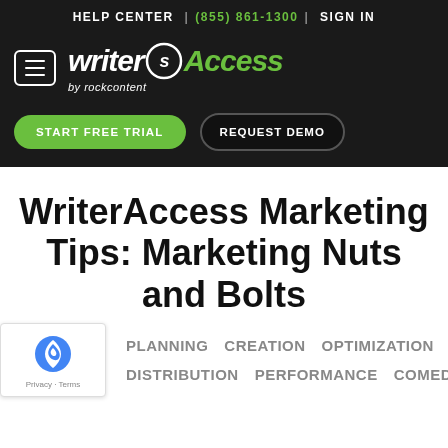HELP CENTER | (855) 861-1300 | SIGN IN
[Figure (logo): WriterAccess by rockcontent logo with hamburger menu icon on dark background]
[Figure (infographic): START FREE TRIAL and REQUEST DEMO buttons on dark background]
WriterAccess Marketing Tips: Marketing Nuts and Bolts
PLANNING
CREATION
OPTIMIZATION
DISTRIBUTION
PERFORMANCE
COMEDY
[Figure (logo): Google reCAPTCHA badge with Privacy and Terms links]